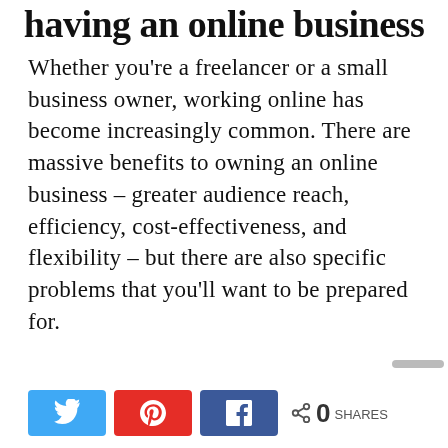having an online business
Whether you're a freelancer or a small business owner, working online has become increasingly common. There are massive benefits to owning an online business – greater audience reach, efficiency, cost-effectiveness, and flexibility – but there are also specific problems that you'll want to be prepared for.